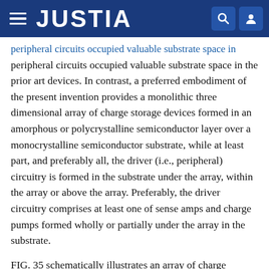JUSTIA
peripheral circuits occupied valuable substrate space in the prior art devices. In contrast, a preferred embodiment of the present invention provides a monolithic three dimensional array of charge storage devices formed in an amorphous or polycrystalline semiconductor layer over a monocrystalline semiconductor substrate, while at least part, and preferably all, the driver (i.e., peripheral) circuitry is formed in the substrate under the array, within the array or above the array. Preferably, the driver circuitry comprises at least one of sense amps and charge pumps formed wholly or partially under the array in the substrate.
FIG. 35 schematically illustrates an array of charge storage logic or memory devices 3101 formed above an interlayer insulating layer 3102 disposed above a